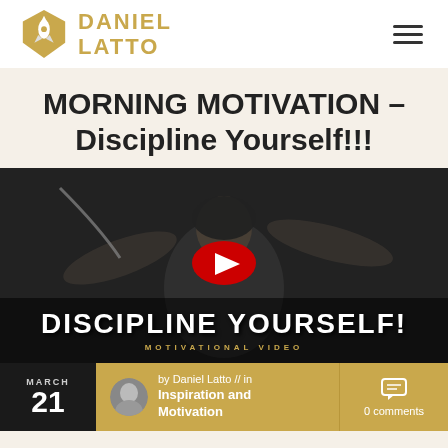[Figure (logo): Daniel Latto logo with rocket icon and gold text]
MORNING MOTIVATION – Discipline Yourself!!!
[Figure (screenshot): YouTube video thumbnail showing a man exercising with text DISCIPLINE YOURSELF! and a red YouTube play button overlay. Caption reads MOTIVATIONAL VIDEO.]
MARCH 21
by Daniel Latto // in Inspiration and Motivation
0 comments